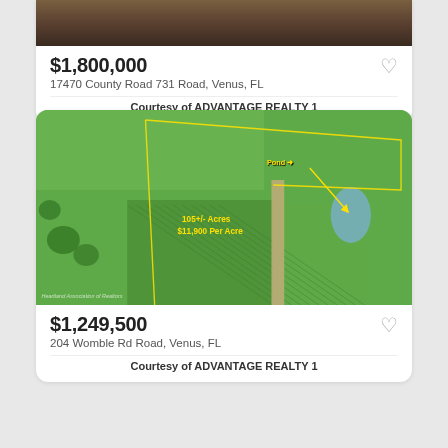[Figure (photo): Aerial/landscape photo crop at top of first property card, dark soil/ground texture visible]
$1,800,000
17470 County Road 731 Road, Venus, FL
Courtesy of ADVANTAGE REALTY 1
[Figure (photo): Aerial drone photo of agricultural land with row crops, road, pond/water body, yellow text overlay reading '105+/- Acres $11,900 Per Acre' and arrow labeled 'Pond', Heartland Association of Realtors watermark]
$1,249,500
204 Womble Rd Road, Venus, FL
Courtesy of ADVANTAGE REALTY 1